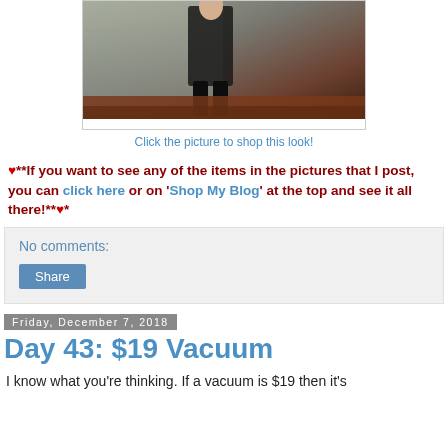[Figure (photo): Person standing against a concrete wall, wearing dark clothing, with reddish-brown ground visible at base]
Click the picture to shop this look!
♥**If you want to see any of the items in the pictures that I post, you can click here or on 'Shop My Blog' at the top and see it all there!**♥*
No comments:
Share
Friday, December 7, 2018
Day 43: $19 Vacuum
I know what you're thinking. If a vacuum is $19 then it's